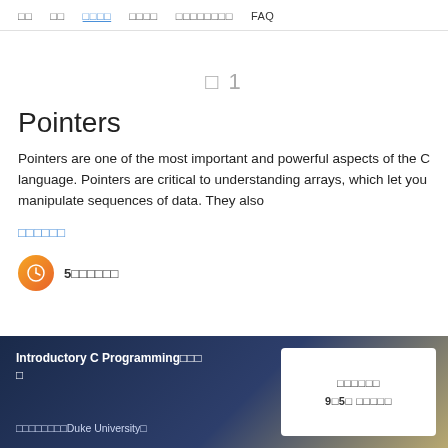□□   □□   □□□□   □□□□   □□□□□□□□   FAQ
□ 1
Pointers
Pointers are one of the most important and powerful aspects of the C language. Pointers are critical to understanding arrays, which let you manipulate sequences of data. They also
□□□□□□
5□□□□□□
Introductory C Programming□□□□
□□□□□□□□□Duke University□
□□□□□□
9□5□ □□□□□